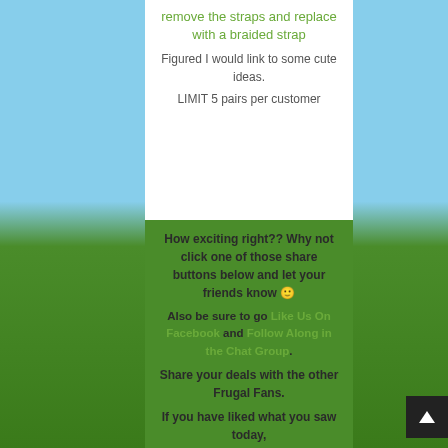remove the straps and replace with a braided strap
Figured I would link to some cute ideas.
LIMIT 5 pairs per customer
How exciting right?? Why not click one of those share buttons below and let your friends know 🙂
Also be sure to go Like Us On Facebook and Follow Along in the Chat Group.
Share your deals with the other Frugal Fans.
If you have liked what you saw today,